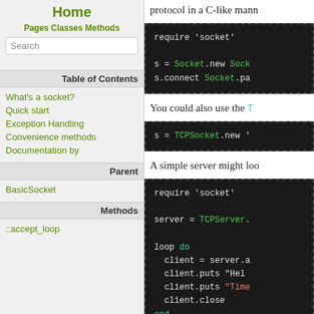Home
Pages Classes Methods
Search
Table of Contents
What's a socket?
Quick start
Exception Handling
Convenience methods
Documentation by
Parent
BasicSocket
Methods
::accept_loop
protocol in a C-like mann
[Figure (screenshot): Code block showing: require 'socket'  s = Socket.new Sock  s.connect Socket.pa]
You could also use the T
[Figure (screenshot): Code block showing: s = TCPSocket.new]
A simple server might loo
[Figure (screenshot): Code block showing server example: require 'socket'  server = TCPServer.  loop do  client = server.a  client.puts Hel  client.puts Time  client.close  end]